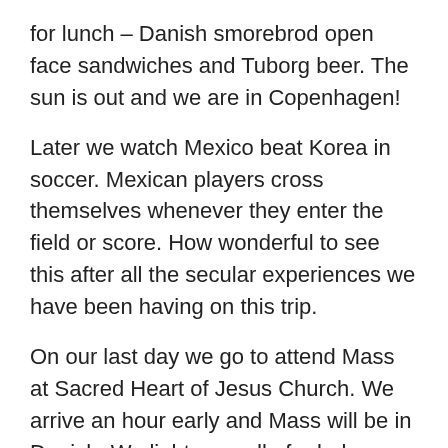for lunch – Danish smorebrod open face sandwiches and Tuborg beer. The sun is out and we are in Copenhagen!
Later we watch Mexico beat Korea in soccer. Mexican players cross themselves whenever they enter the field or score. How wonderful to see this after all the secular experiences we have been having on this trip.
On our last day we go to attend Mass at Sacred Heart of Jesus Church. We arrive an hour early and Mass will be in Danish. We light a candle for baby Morgan our grandson to be and say our prayers. Then we explore Norrebro on foot, a multicultural neighborhood. There are joggers and families biking everywhere. We find Hans Christen Anderson's and Soren Kirkegaard's grave sites in Assisstens Cemetery. We take a bus back and rest.